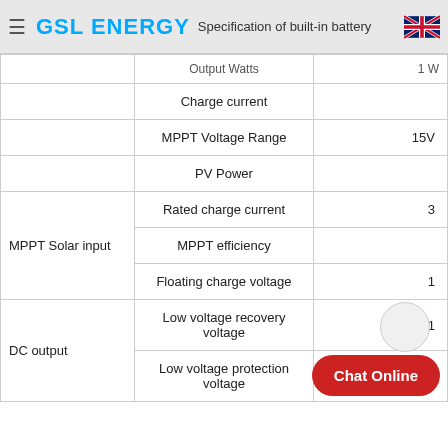GSL ENERGY — Specification of built-in battery
| Category | Specification | Value |
| --- | --- | --- |
|  | Charge current |  |
|  | MPPT Voltage Range | 15V |
|  | PV Power |  |
| MPPT Solar input | Rated charge current | 3 |
|  | MPPT efficiency |  |
|  | Floating charge voltage | 1 |
|  | Low voltage recovery voltage | 1 |
| DC output | Low voltage protection voltage |  |